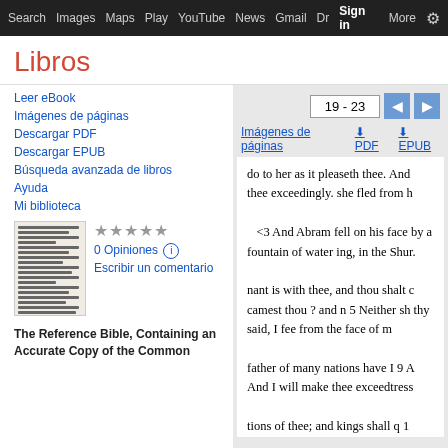Search  Images  Maps  Play  YouTube  News  Gmail  Dr  Sign in  More  ⚙
Libros
Leer eBook
Imágenes de páginas
Descargar PDF
Descargar EPUB
Búsqueda avanzada de libros
Ayuda
Mi biblioteca
0 Opiniones ⓘ
Escribir un comentario
The Reference Bible, Containing an Accurate Copy of the Common
19 - 23
Imágenes de páginas   ⬇ PDF   ⬇ EPUB
do to her as it pleaseth thee. And thee exceedingly. she fled from h
<3 And Abram fell on his face by a fountain of water ing, in the Shur.
nant is with thee, and thou shalt c camest thou ? and n 5 Neither sh thy said, I fee from the face of m father of many nations have I 9 A And I will make thee exceedtress tions of thee; and kings shall q 1 multiply thy 67 And I will estab and be numbered for mulutude. b